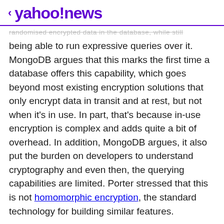< yahoo!news
randomised encrypted data in the database, while still being able to run expressive queries over it. MongoDB argues that this marks the first time a database offers this capability, which goes beyond most existing encryption solutions that only encrypt data in transit and at rest, but not when it's in use. In part, that's because in-use encryption is complex and adds quite a bit of overhead. In addition, MongoDB argues, it also put the burden on developers to understand cryptography and even then, the querying capabilities are limited. Porter stressed that this is not homomorphic encryption, the standard technology for building similar features.
View comments